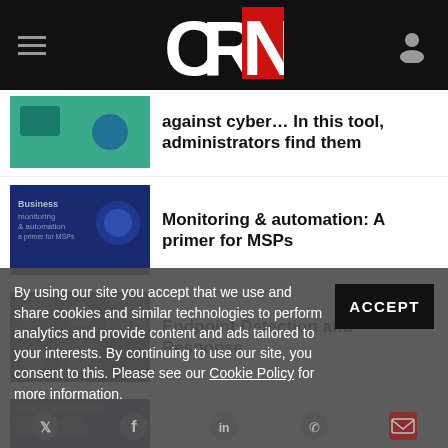CRN
against cyber... In this tool, administrators find them
Monitoring & automation: A primer for MSPs
Endpoint Detection and Response
How to put your infrastructure into overdrive
MSPs: Stack your solutions
By using our site you accept that we use and share cookies and similar technologies to perform analytics and provide content and ads tailored to your interests. By continuing to use our site, you consent to this. Please see our Cookie Policy for more information.